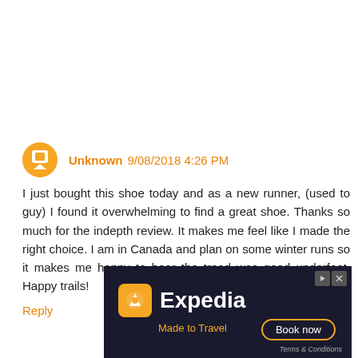Unknown 9/08/2018 4:26 PM
I just bought this shoe today and as a new runner, (used to guy) I found it overwhelming to find a great shoe. Thanks so much for the indepth review. It makes me feel like I made the right choice. I am in Canada and plan on some winter runs so it makes me happy to hear the tread was good underfoot. Happy trails!
Reply
[Figure (other): Expedia advertisement banner with dark background, Expedia logo, 'Made to Travel' tagline, and 'Book now' button]